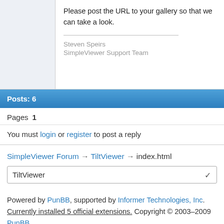Please post the URL to your gallery so that we can take a look.
Steven Speirs
SimpleViewer Support Team
Posts: 6
Pages  1
You must login or register to post a reply
SimpleViewer Forum → TiltViewer → index.html
TiltViewer
Powered by PunBB, supported by Informer Technologies, Inc. Currently installed 5 official extensions. Copyright © 2003–2009 PunBB.